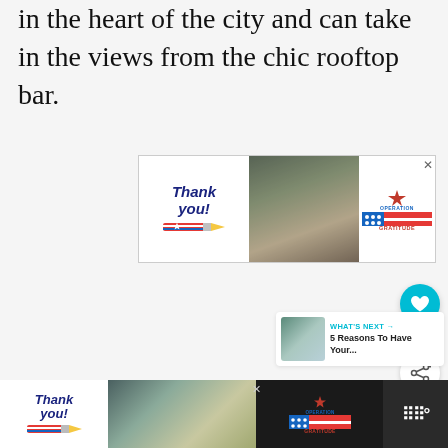in the heart of the city and can take in the views from the chic rooftop bar.
[Figure (screenshot): Operation Gratitude advertisement banner with 'Thank you!' handwritten text over pencil graphic, soldiers image in center, and Operation Gratitude logo on right with close X button]
[Figure (screenshot): Floating UI elements: teal heart/like button, count of 1, and share button with plus icon]
[Figure (screenshot): What's Next panel showing thumbnail image and text '5 Reasons To Have Your...' with Operation Gratitude label]
[Figure (screenshot): Bottom dark advertisement bar: Operation Gratitude ad with Thank you pencil graphic, healthcare workers photo, logo, close button, and weather widget showing degrees symbol]